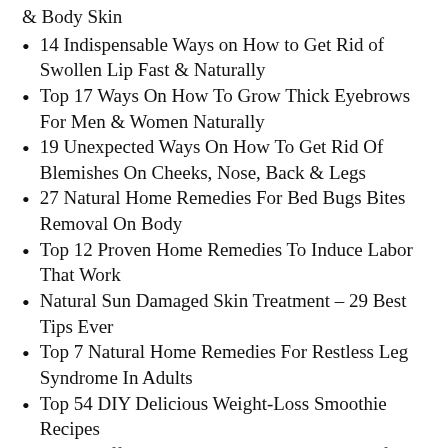& Body Skin
14 Indispensable Ways on How to Get Rid of Swollen Lip Fast & Naturally
Top 17 Ways On How To Grow Thick Eyebrows For Men & Women Naturally
19 Unexpected Ways On How To Get Rid Of Blemishes On Cheeks, Nose, Back & Legs
27 Natural Home Remedies For Bed Bugs Bites Removal On Body
Top 12 Proven Home Remedies To Induce Labor That Work
Natural Sun Damaged Skin Treatment – 29 Best Tips Ever
Top 7 Natural Home Remedies For Restless Leg Syndrome In Adults
Top 54 DIY Delicious Weight-Loss Smoothie Recipes
Top 10 Effective Tips On How To Get Rid Of Scar